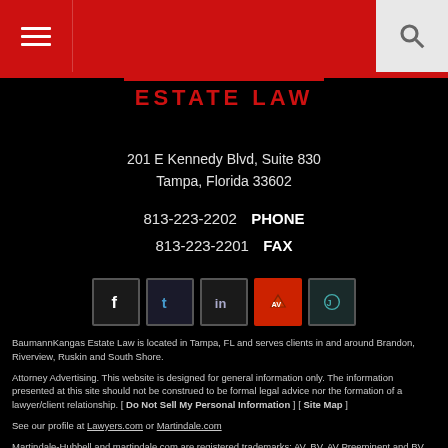Navigation bar with hamburger menu and search icon
ESTATE LAW
201 E Kennedy Blvd, Suite 830
Tampa, Florida 33602

813-223-2202  PHONE
813-223-2201  FAX
[Figure (infographic): Social media icons: Facebook, Twitter, LinkedIn, Avvo (red), Justia]
BaumannKangas Estate Law is located in Tampa, FL and serves clients in and around Brandon, Riverview, Ruskin and South Shore.
Attorney Advertising. This website is designed for general information only. The information presented at this site should not be construed to be formal legal advice nor the formation of a lawyer/client relationship. [ Do Not Sell My Personal Information ] [ Site Map ]
See our profile at Lawyers.com or Martindale.com
Martindale-Hubbell and martindale.com are registered trademarks; AV, BV, AV Preeminent and BV Distinguished are registered certification marks; Lawyers.com and the Martindale-Hubbell Peer Review Rated Icon are service marks; and Martindale-Hubbell Peer Review Ratings are trademarks of MH Sub I, LLC, used under license. Other products and services may